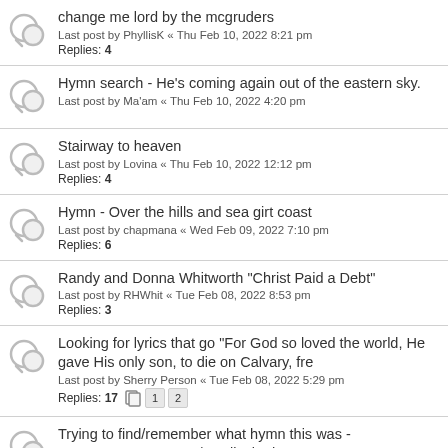change me lord by the mcgruders
Last post by PhyllisK « Thu Feb 10, 2022 8:21 pm
Replies: 4
Hymn search - He's coming again out of the eastern sky.
Last post by Ma'am « Thu Feb 10, 2022 4:20 pm
Stairway to heaven
Last post by Lovina « Thu Feb 10, 2022 12:12 pm
Replies: 4
Hymn - Over the hills and sea girt coast
Last post by chapmana « Wed Feb 09, 2022 7:10 pm
Replies: 6
Randy and Donna Whitworth "Christ Paid a Debt"
Last post by RHWhit « Tue Feb 08, 2022 8:53 pm
Replies: 3
Looking for lyrics that go "For God so loved the world, He gave His only son, to die on Calvary, fre
Last post by Sherry Person « Tue Feb 08, 2022 5:29 pm
Replies: 17
Trying to find/remember what hymn this was - CRUSADERS' HYMN/St Elizabeth
Last post by Organist « Mon Feb 07, 2022 12:07 pm
Replies: ?